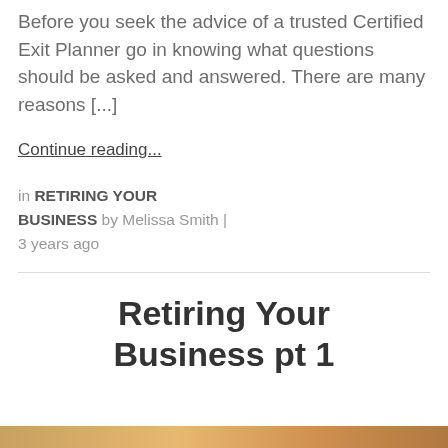Before you seek the advice of a trusted Certified Exit Planner go in knowing what questions should be asked and answered. There are many reasons [...]
Continue reading...
in RETIRING YOUR BUSINESS by Melissa Smith | 3 years ago
Retiring Your Business pt 1